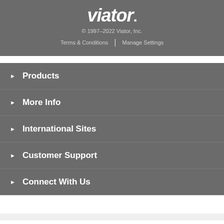viator.
© 1997–2022 Viator, Inc.
Terms & Conditions  |  Manage Settings
▶ Products
▶ More Info
▶ International Sites
▶ Customer Support
▶ Connect With Us
Check Availability